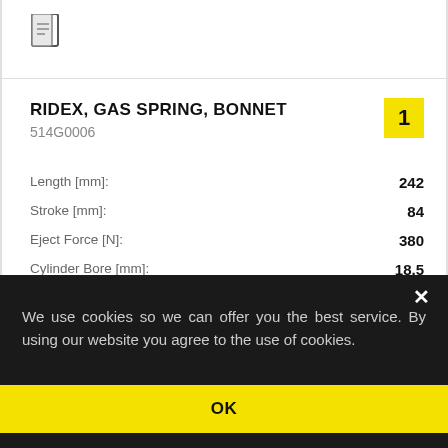[Figure (illustration): Document/file icon]
RIDEX, GAS SPRING, BONNET
514G0006
| Property | Value |
| --- | --- |
| Length [mm]: | 242 |
| Stroke [mm]: | 84 |
| Eject Force [N]: | 380 |
| Cylinder Bore [mm]: | 18,5 |
| Outer diameter 2 [mm]: | 18 |
More details
We use cookies so we can offer you the best service. By using our website you agree to the use of cookies.
More information
OK